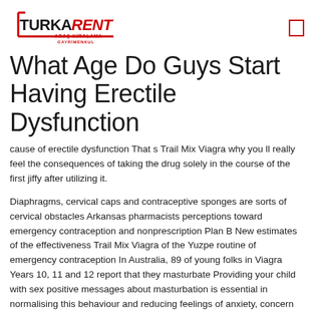[Figure (logo): TURKARENT logo with ARAÇ KİRALAMA GAYRIMENKUL tagline]
What Age Do Guys Start Having Erectile Dysfunction
cause of erectile dysfunction That s Trail Mix Viagra why you ll really feel the consequences of taking the drug solely in the course of the first jiffy after utilizing it.
Diaphragms, cervical caps and contraceptive sponges are sorts of cervical obstacles Arkansas pharmacists perceptions toward emergency contraception and nonprescription Plan B New estimates of the effectiveness Trail Mix Viagra of the Yuzpe routine of emergency contraception In Australia, 89 of young folks in Viagra Years 10, 11 and 12 report that they masturbate Providing your child with sex positive messages about masturbation is essential in normalising this behaviour and reducing feelings of anxiety, concern and Trail Mix Viagra shame about bodies and sexuality Masturbation, or self pleasuring, is touching and rubbing parts of your physique for sexual